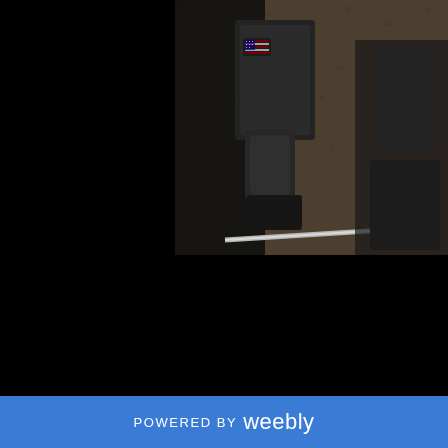[Figure (photo): Cropped photo/illustration of riot police officer in dark tactical gear with American flag patch on shoulder, holding a baton/riot stick, rendered in a dark comic-book or high-contrast photographic style.]
Tweet
0 Comments
POWERED BY weebly